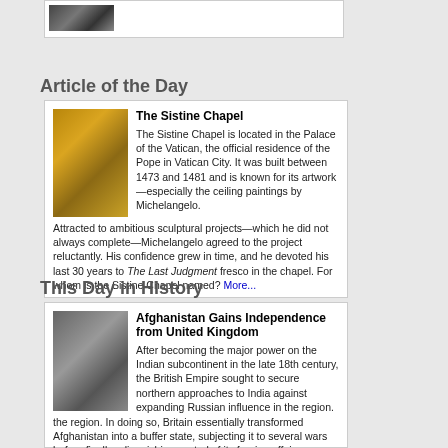[Figure (photo): Partial view of a photo showing faces, cropped at top of page]
Article of the Day
[Figure (photo): Interior of the Sistine Chapel showing ornate ceiling paintings]
The Sistine Chapel
The Sistine Chapel is located in the Palace of the Vatican, the official residence of the Pope in Vatican City. It was built between 1473 and 1481 and is known for its artwork—especially the ceiling paintings by Michelangelo. Attracted to ambitious sculptural projects—which he did not always complete—Michelangelo agreed to the project reluctantly. His confidence grew in time, and he devoted his last 30 years to The Last Judgment fresco in the chapel. For whom is the Sistine Chapel named? More...
This Day in History
[Figure (photo): Black and white portrait photo of a man in military uniform and hat]
Afghanistan Gains Independence from United Kingdom
After becoming the major power on the Indian subcontinent in the late 18th century, the British Empire sought to secure northern approaches to India against expanding Russian influence in the region. In doing so, Britain essentially transformed Afghanistan into a buffer state, subjecting it to several wars before finally relinquishing control of its foreign affairs.